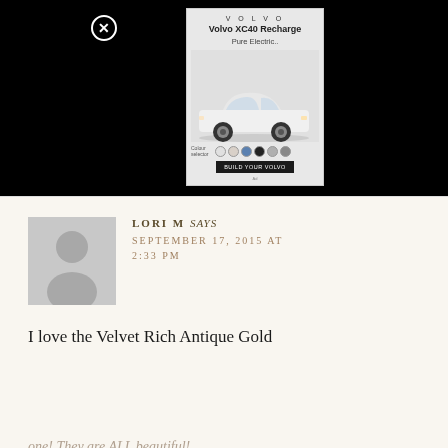[Figure (screenshot): Volvo XC40 Recharge advertisement banner with car image, color swatches, and call-to-action button on dark background]
LORI M says
SEPTEMBER 17, 2015 AT 2:33 PM
I love the Velvet Rich Antique Gold
one! They are ALL beautiful!